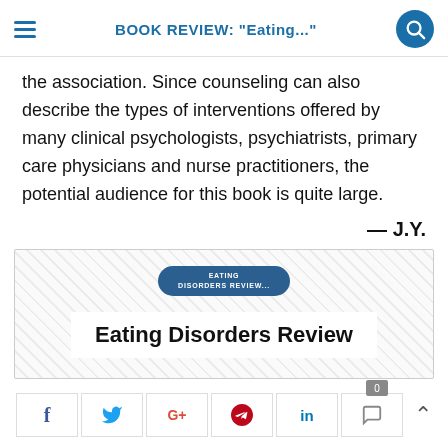BOOK REVIEW: "Eating..."
the association. Since counseling can also describe the types of interventions offered by many clinical psychologists, psychiatrists, primary care physicians and nurse practitioners, the potential audience for this book is quite large.
— J.Y.
[Figure (logo): Eating Disorders Review publication logo and title card with hatched border background]
Social share buttons: Facebook, Twitter, Google+, Pinterest, LinkedIn, Comments (0)